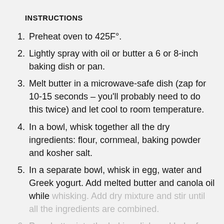INSTRUCTIONS
Preheat oven to 425F°.
Lightly spray with oil or butter a 6 or 8-inch baking dish or pan.
Melt butter in a microwave-safe dish (zap for 10-15 seconds – you'll probably need to do this twice) and let cool to room temperature.
In a bowl, whisk together all the dry ingredients: flour, cornmeal, baking powder and kosher salt.
In a separate bowl, whisk in egg, water and Greek yogurt. Add melted butter and canola oil while whisking. Add dry mixture and stir until all the ingredients are combined.
Pour batter into the baking dish and bake for for